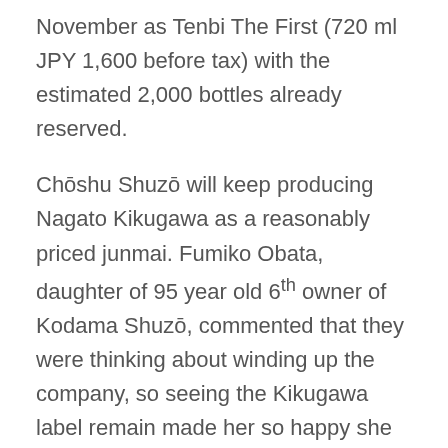November as Tenbi The First (720 ml JPY 1,600 before tax) with the estimated 2,000 bottles already reserved.
Chōshu Shuzō will keep producing Nagato Kikugawa as a reasonably priced junmai. Fumiko Obata, daughter of 95 year old 6th owner of Kodama Shuzō, commented that they were thinking about winding up the company, so seeing the Kikugawa label remain made her so happy she almost cried.
Links
Original article 1 (Japanese, Asahi